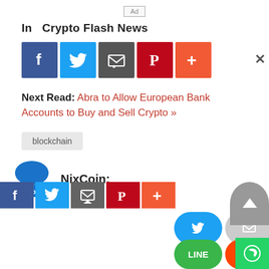[Figure (other): Ad placeholder box with 'Ad' text]
In  Crypto Flash News
[Figure (other): Social share buttons row: Facebook, Twitter, Email, Pinterest, Plus]
Next Read: Abra to Allow European Bank Accounts to Buy and Sell Crypto »
blockchain
NixCoin:
[Figure (other): Bottom social share buttons: Twitter, Email, Pinterest, LinkedIn ovals, and LINE, Reddit, Tumblr ovals, WhatsApp button, scroll-to-top button]